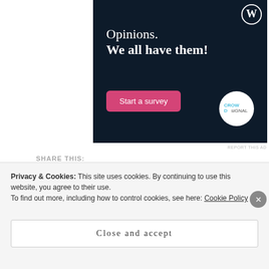[Figure (illustration): Advertisement banner with dark navy background showing WordPress logo, text 'Opinions. We all have them!', a pink 'Start a survey' button, and CrowdSignal circular logo]
REPORT THIS AD
SHARE THIS:
Facebook  Twitter  Email
Privacy & Cookies: This site uses cookies. By continuing to use this website, you agree to their use. To find out more, including how to control cookies, see here: Cookie Policy
Close and accept